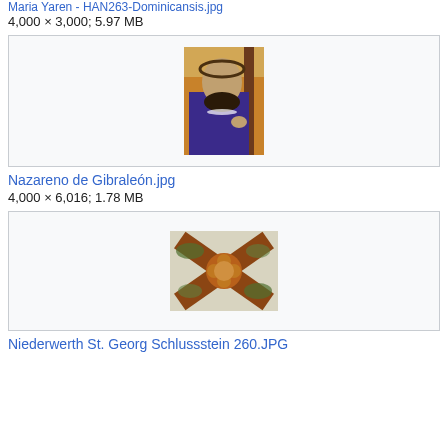4,000 × 3,000; 5.97 MB
[Figure (photo): Religious statue of Nazareno de Gibraleón, a figure carrying a cross wearing purple robes and crown of thorns]
Nazareno de Gibraleón.jpg
4,000 × 6,016; 1.78 MB
[Figure (photo): Niederwerth St. Georg Schlussstein - ceiling keystone with floral cross decoration]
Niederwerth St. Georg Schlussstein 260.JPG